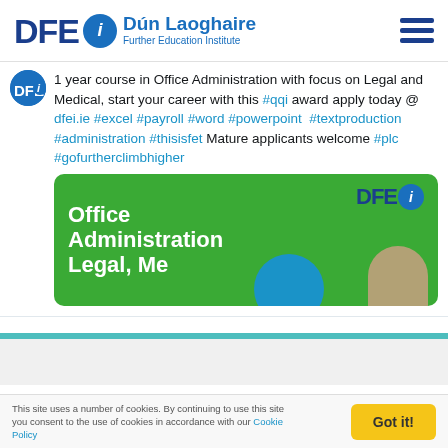[Figure (logo): DFEi Dún Laoghaire Further Education Institute logo with hamburger menu icon]
1 year course in Office Administration with focus on Legal and Medical, start your career with this #qqi award apply today @ dfei.ie #excel #payroll #word #powerpoint #textproduction #administration #thisisfet Mature applicants welcome #plc #gofurtherclimbhigher
[Figure (illustration): Green promotional banner showing 'Office Administration Legal Me...' text with DFEi logo and a person's photo]
This site uses a number of cookies. By continuing to use this site you consent to the use of cookies in accordance with our Cookie Policy